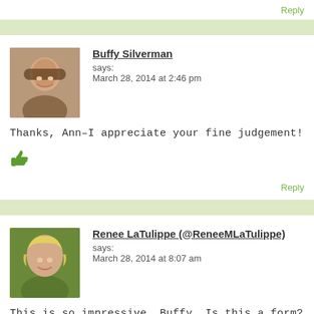Reply
[Figure (photo): Avatar photo of Buffy Silverman, a woman with dark hair and glasses, smiling]
Buffy Silverman says:
March 28, 2014 at 2:46 pm
Thanks, Ann–I appreciate your fine judgement!
[Figure (illustration): Green thumbs up icon]
Reply
[Figure (photo): Avatar photo of Renee LaTulippe, a woman with blonde hair, smiling]
Renee LaTulippe (@ReneeMLaTulippe) says:
March 28, 2014 at 8:07 am
This is so impressive, Buffy. Is this a form? If not, I lo structure. You're creating a whole science collection in this